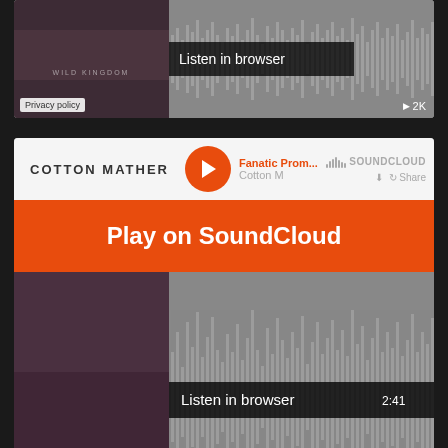[Figure (screenshot): SoundCloud embedded music player (partial, top) showing a Cotton Mather track with waveform, privacy policy badge, and play count 2K. 'Listen in browser' button visible at top.]
[Figure (screenshot): SoundCloud embedded music player for Cotton Mather 'Fanatic Prom...' track, featuring 'Play on SoundCloud' orange banner, 'Listen in browser' button, time 2:41, play count 1.5K, album art with 'WILD KINGDOM' text, and SoundCloud logo with Share button.]
[Figure (screenshot): SoundCloud embedded music player for Cotton Mather 'Fanatic Prom...' (White Gold album), featuring 'Play on SoundCloud' orange banner, 'Listen in browser' button, time 2:31, play count 670, album art with 'Cotton Mather White Gold' text, and SoundCloud logo with Share button.]